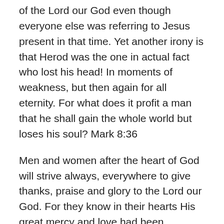of the Lord our God even though everyone else was referring to Jesus present in that time. Yet another irony is that Herod was the one in actual fact who lost his head! In moments of weakness, but then again for all eternity. For what does it profit a man that he shall gain the whole world but loses his soul? Mark 8:36
Men and women after the heart of God will strive always, everywhere to give thanks, praise and glory to the Lord our God. For they know in their hearts His great mercy and love had been outpoured upon them each and every time they had turned back to Him with contrite hearts. They love more for their many sins have been forgiven. (Lk 7:47) And they rely not on their own strengths but call upon the Lord who hears His Faithful. Therefore they are able to do great things in His name for His Kingdom and their brethren.